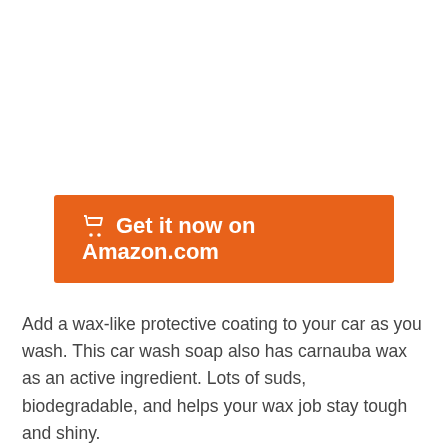[Figure (other): Orange 'Get it now on Amazon.com' button with shopping cart icon]
Add a wax-like protective coating to your car as you wash. This car wash soap also has carnauba wax as an active ingredient. Lots of suds, biodegradable, and helps your wax job stay tough and shiny.
The label chosen for product will indicate whether it...